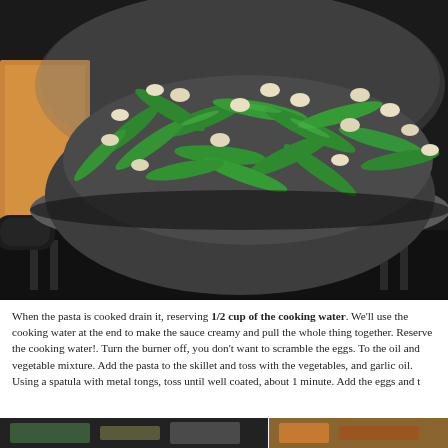[Figure (photo): A stainless steel skillet on a gas stove containing bright green snap peas and large white beans (lima beans), sautéed together. Wooden cutting board visible in background.]
When the pasta is cooked drain it, reserving 1/2 cup of the cooking water. We'll use the cooking water at the end to make the sauce creamy and pull the whole thing together. Reserve the cooking water!. Turn the burner off, you don't want to scramble the eggs. To the oil and vegetable mixture. Add the pasta to the skillet and toss with the vegetables, and garlic oil. Using a spatula with metal tongs, toss until well coated, about 1 minute. Add the eggs and t
[Figure (photo): Two small food photos at the bottom of the page, partially cut off.]